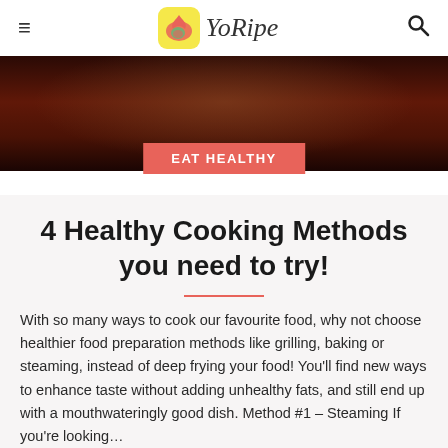≡  YoRipe  🔍
[Figure (photo): Dark close-up photo of a cooking pan or dish, dark reddish-brown tones]
EAT HEALTHY
4 Healthy Cooking Methods you need to try!
With so many ways to cook our favourite food, why not choose healthier food preparation methods like grilling, baking or steaming, instead of deep frying your food! You'll find new ways to enhance taste without adding unhealthy fats, and still end up with a mouthwateringly good dish. Method #1 – Steaming If you're looking...